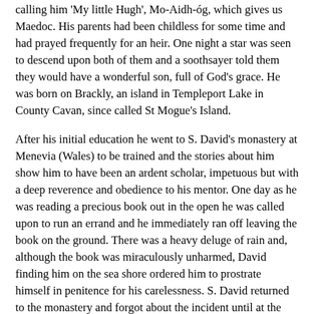calling him 'My little Hugh', Mo-Aidh-óg, which gives us Maedoc. His parents had been childless for some time and had prayed frequently for an heir. One night a star was seen to descend upon both of them and a soothsayer told them they would have a wonderful son, full of God's grace. He was born on Brackly, an island in Templeport Lake in County Cavan, since called St Mogue's Island.
After his initial education he went to S. David's monastery at Menevia (Wales) to be trained and the stories about him show him to have been an ardent scholar, impetuous but with a deep reverence and obedience to his mentor. One day as he was reading a precious book out in the open he was called upon to run an errand and he immediately ran off leaving the book on the ground. There was a heavy deluge of rain and, although the book was miraculously unharmed, David finding him on the sea shore ordered him to prostrate himself in penitence for his carelessness. S. David returned to the monastery and forgot about the incident until at the evening office he saw that Aedan was not with his brethren. They all ran down to the beach and drew him from the waves that were submerging the still prostrate penitent.
The particular affection that David had for his Irish student did not endear him to all the community and the steward of the abbey persuaded one of the monks to engineer his death and make it look like an accident. David was putting on his sandals when he had a